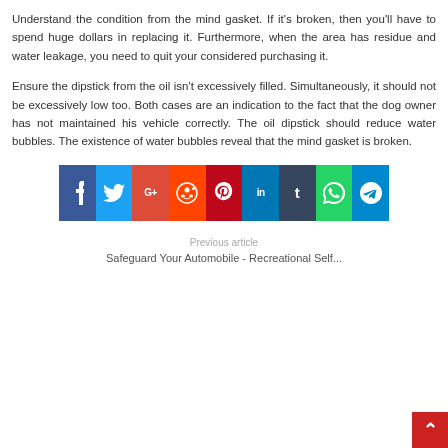Understand the condition from the mind gasket. If it's broken, then you'll have to spend huge dollars in replacing it. Furthermore, when the area has residue and water leakage, you need to quit your considered purchasing it.
Ensure the dipstick from the oil isn't excessively filled. Simultaneously, it should not be excessively low too. Both cases are an indication to the fact that the dog owner has not maintained his vehicle correctly. The oil dipstick should reduce water bubbles. The existence of water bubbles reveal that the mind gasket is broken.
[Figure (infographic): Social media sharing bar with icons for Facebook, Twitter, Google+, Reddit, Pinterest, LinkedIn, Tumblr, WhatsApp, and Telegram]
Previous article
Safeguard Your Automobile - Recreational Self...